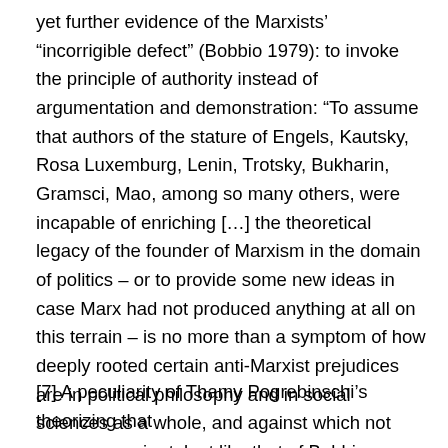yet further evidence of the Marxists' “incorrigible defect” (Bobbio 1979): to invoke the principle of authority instead of argumentation and demonstration: “To assume that authors of the stature of Engels, Kautsky, Rosa Luxemburg, Lenin, Trotsky, Bukharin, Gramsci, Mao, among so many others, were incapable of enriching […] the theoretical legacy of the founder of Marxism in the domain of politics – or to provide some new ideas in case Marx had not produced anything at all on this terrain – is no more than a symptom of how deeply rooted certain anti-Marxist prejudices are in political philosophy and in social sciences as a whole, and against which not even a superior talent like that of Bobbio was adequately immune” (Borón 2007).
.
[7] A peculiarity of Thamy Pogrebinschi’s theorizing that